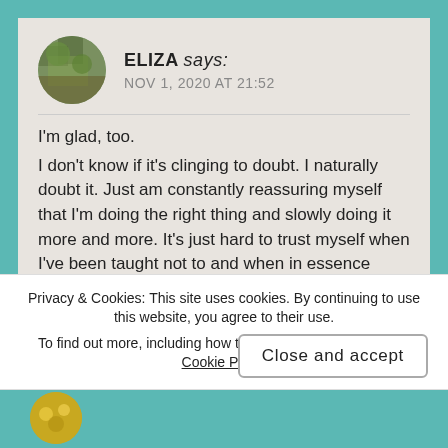ELIZA says:
NOV 1, 2020 AT 21:52
I'm glad, too.
I don't know if it's clinging to doubt. I naturally doubt it. Just am constantly reassuring myself that I'm doing the right thing and slowly doing it more and more. It's just hard to trust myself when I've been taught not to and when in essence what I'm doing, although right, goes against all I believe. So the external validation helps too.
Privacy & Cookies: This site uses cookies. By continuing to use this website, you agree to their use.
To find out more, including how to control cookies, see here: Cookie Policy
Close and accept